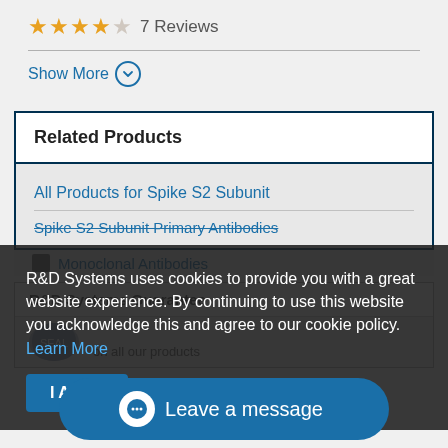★★★★☆ 7 Reviews
Show More ⊙
Related Products
All Products for Spike S2 Subunit
Spike S2 Subunit Primary Antibodies
R&D Systems uses cookies to provide you with a great website experience. By continuing to use this website you acknowledge this and agree to our cookie policy. Learn More
I Agree
Monoclonal Antibodies
R&D Systems Guarantee
on all our products
Leave a message